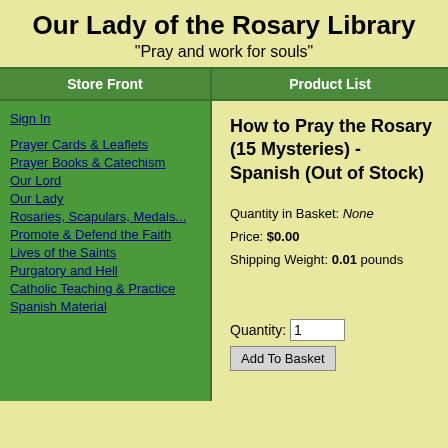Our Lady of the Rosary Library
"Pray and work for souls"
Store Front | Product List
Sign In
Prayer Cards & Leaflets
Prayer Books & Catechism
Our Lord
Our Lady
Rosaries, Scapulars, Medals...
Promote & Defend the Faith
Lives of the Saints
Purgatory and Hell
Catholic Teaching & Practice
Spanish Material
How to Pray the Rosary (15 Mysteries) - Spanish (Out of Stock)
Quantity in Basket: None
Price: $0.00
Shipping Weight: 0.01 pounds
Quantity: 1
Add To Basket